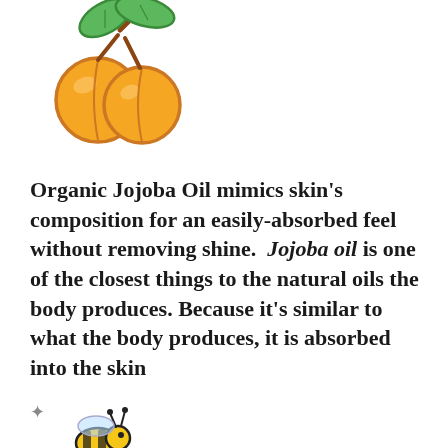[Figure (illustration): Two orange apricots with green leaves illustration, cartoon style with outlined strokes]
Organic Jojoba Oil mimics skin's composition for an easily-absorbed feel without removing shine. Jojoba oil is one of the closest things to the natural oils the body produces. Because it's similar to what the body produces, it is absorbed into the skin
[Figure (illustration): Bee illustration, partially visible at bottom of page]